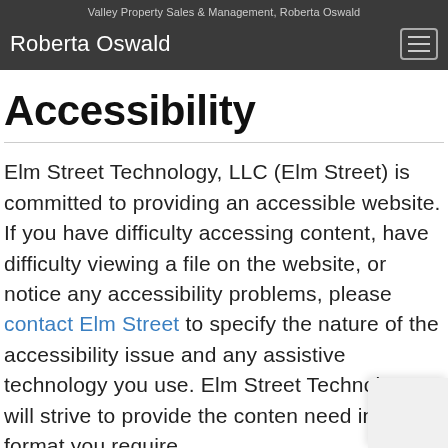Valley Property Sales & Management, Roberta Oswald
Roberta Oswald
Accessibility
Elm Street Technology, LLC (Elm Street) is committed to providing an accessible website. If you have difficulty accessing content, have difficulty viewing a file on the website, or notice any accessibility problems, please contact Elm Street to specify the nature of the accessibility issue and any assistive technology you use. Elm Street Technology will strive to provide the content need in the format you require.